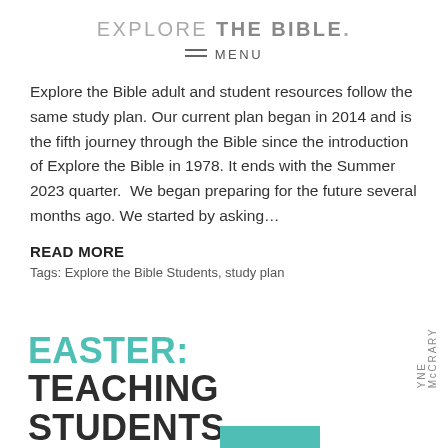EXPLORE THE BIBLE.
≡  MENU
Explore the Bible adult and student resources follow the same study plan. Our current plan began in 2014 and is the fifth journey through the Bible since the introduction of Explore the Bible in 1978. It ends with the Summer 2023 quarter.  We began preparing for the future several months ago. We started by asking...
READ MORE
Tags: Explore the Bible Students, study plan
EASTER: TEACHING STUDENTS